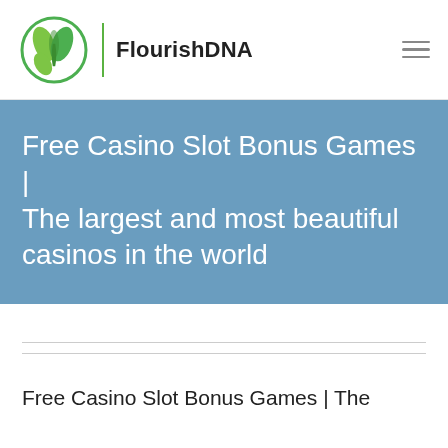[Figure (logo): FlourishDNA website logo with green DNA/plant icon and site name text]
Free Casino Slot Bonus Games | The largest and most beautiful casinos in the world
Free Casino Slot Bonus Games | The